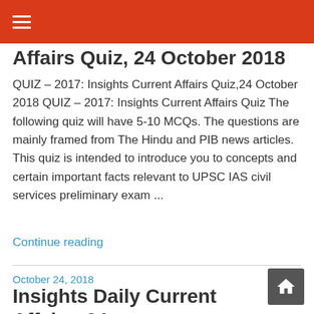≡ (hamburger menu)
Affairs Quiz, 24 October 2018
QUIZ – 2017: Insights Current Affairs Quiz,24 October 2018 QUIZ – 2017: Insights Current Affairs Quiz The following quiz will have 5-10 MCQs. The questions are mainly framed from The Hindu and PIB news articles. This quiz is intended to introduce you to concepts and certain important facts relevant to UPSC IAS civil services preliminary exam ...
Continue reading
October 24, 2018
Insights Daily Current Affairs, 24